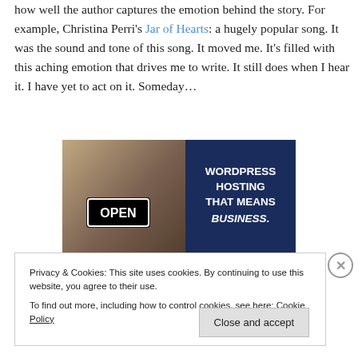how well the author captures the emotion behind the story. For example, Christina Perri's Jar of Hearts: a hugely popular song. It was the sound and tone of this song. It moved me. It's filled with this aching emotion that drives me to write. It still does when I hear it. I have yet to act on it. Someday…
[Figure (photo): Advertisement banner showing a person holding an OPEN sign in the left half, and dark blue background with white text 'WORDPRESS HOSTING THAT MEANS BUSINESS.' on the right half.]
Privacy & Cookies: This site uses cookies. By continuing to use this website, you agree to their use.
To find out more, including how to control cookies, see here: Cookie Policy